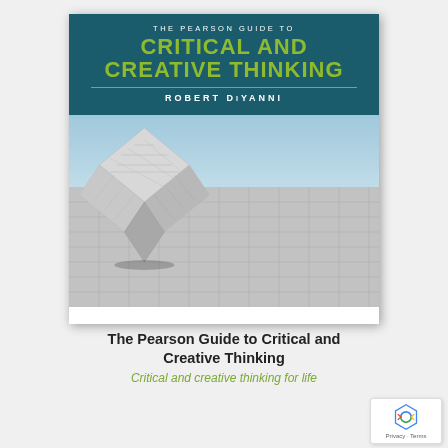[Figure (illustration): Book cover of 'The Pearson Guide to Critical and Creative Thinking' by Robert DiYanni. Teal/dark cyan header with title in lime green uppercase letters and author name in white. Below is a photographic image of a large stone or concrete cube balanced on a corner on a tiled stone surface, against a blue sky background.]
The Pearson Guide to Critical and Creative Thinking
Critical and creative thinking for life